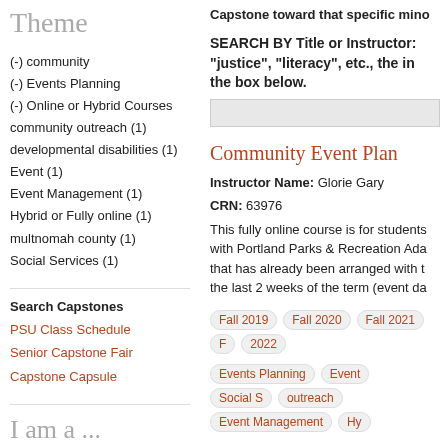Theme
(-) community
(-) Events Planning
(-) Online or Hybrid Courses
community outreach (1)
developmental disabilities (1)
Event (1)
Event Management (1)
Hybrid or Fully online (1)
multnomah county (1)
Social Services (1)
Search Capstones
PSU Class Schedule
Senior Capstone Fair
Capstone Capsule
I am a ...
Student
Capstone toward that specific mino
SEARCH BY Title or Instructor: "justice", "literacy", etc., the in the box below.
Community Event Plan
Instructor Name: Glorie Gary
CRN: 63976
This fully online course is for students with Portland Parks & Recreation Ada that has already been arranged with t the last 2 weeks of the term (event da
Fall 2019  Fall 2020  Fall 2021  F 2022
Events Planning  Event  Social S outreach  Event Management  Hy